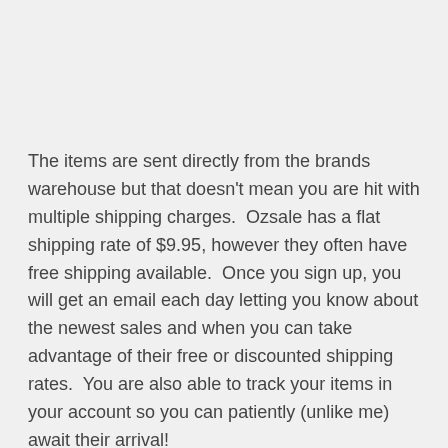The items are sent directly from the brands warehouse but that doesn't mean you are hit with multiple shipping charges.  Ozsale has a flat shipping rate of $9.95, however they often have free shipping available.  Once you sign up, you will get an email each day letting you know about the newest sales and when you can take advantage of their free or discounted shipping rates.  You are also able to track your items in your account so you can patiently (unlike me) await their arrival!
Overall I was quite impressed with the range on offer at Ozsale.  I think there really is something available for